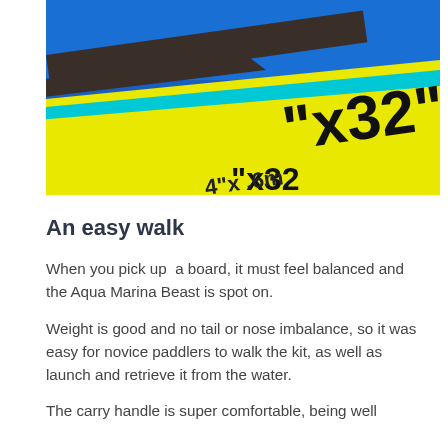[Figure (photo): Close-up photo of an inflatable paddleboard showing yellow and cyan color stripe with dimension marking '"x32"' in large black text on the board surface. Blue textured surface visible at top.]
An easy walk
When you pick up  a board, it must feel balanced and the Aqua Marina Beast is spot on.
Weight is good and no tail or nose imbalance, so it was easy for novice paddlers to walk the kit, as well as launch and retrieve it from the water.
The carry handle is super comfortable, being well